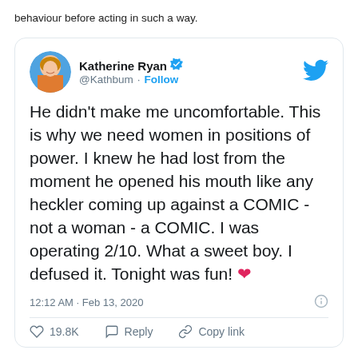behaviour before acting in such a way.
[Figure (screenshot): Screenshot of a tweet by Katherine Ryan (@Kathbum) with verified badge. Tweet text: 'He didn't make me uncomfortable. This is why we need women in positions of power. I knew he had lost from the moment he opened his mouth like any heckler coming up against a COMIC - not a woman - a COMIC. I was operating 2/10. What a sweet boy. I defused it. Tonight was fun! ❤' Posted at 12:12 AM · Feb 13, 2020. Likes: 19.8K. Actions: Reply, Copy link.]